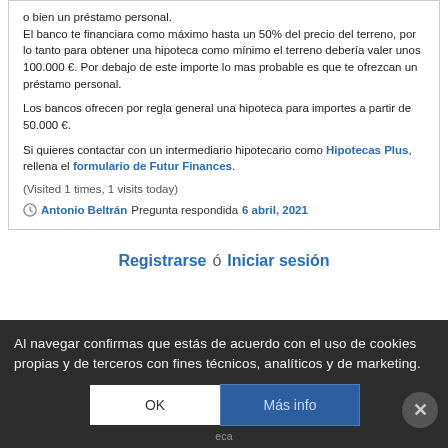o bien un préstamo personal. El banco te financiara como máximo hasta un 50% del precio del terreno, por lo tanto para obtener una hipoteca como mínimo el terreno debería valer unos 100.000 €. Por debajo de este importe lo mas probable es que te ofrezcan un préstamo personal.
Los bancos ofrecen por regla general una hipoteca para importes a partir de 50.000 €.
Si quieres contactar con un intermediario hipotecario como Hipotecas Plus, rellena el formulario de Futur Finances.
(Visited 1 times, 1 visits today)
Antonio Beltrán Pregunta respondida 6 abril, 2021
Registrarse  ó  Iniciar sesión
Al navegar confirmas que estás de acuerdo con el uso de cookies propias y de terceros con fines técnicos, analíticos y de marketing.